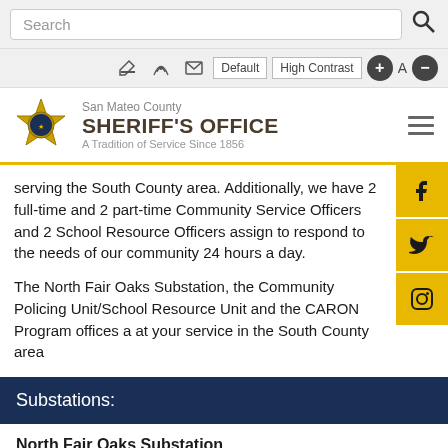Search
Default | High Contrast | toolbar icons
San Mateo County SHERIFF'S OFFICE A Tradition of Service Since 1856
serving the South County area. Additionally, we have 2 full-time and 2 part-time Community Service Officers and 2 School Resource Officers assign to respond to the needs of our community 24 hours a day.
The North Fair Oaks Substation, the Community Policing Unit/School Resource Unit and the CARON Program offices a at your service in the South County area
Substations:
North Fair Oaks Substation
3121 Middlefield Road (View Map)
Redwood City, CA 94063